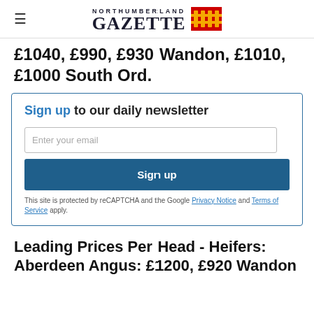NORTHUMBERLAND GAZETTE
£1040, £990, £930 Wanon, £1010, £1000 South Ord.
Sign up to our daily newsletter
Enter your email
Sign up
This site is protected by reCAPTCHA and the Google Privacy Notice and Terms of Service apply.
Leading Prices Per Head - Heifers: Aberdeen Angus: £1200, £920 Wandon